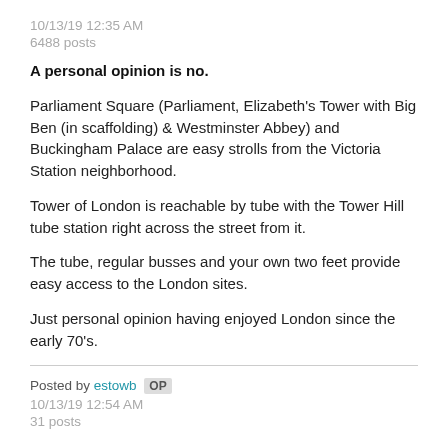10/13/19 12:35 AM
6488 posts
A personal opinion is no.
Parliament Square (Parliament, Elizabeth's Tower with Big Ben (in scaffolding) & Westminster Abbey) and Buckingham Palace are easy strolls from the Victoria Station neighborhood.
Tower of London is reachable by tube with the Tower Hill tube station right across the street from it.
The tube, regular busses and your own two feet provide easy access to the London sites.
Just personal opinion having enjoyed London since the early 70's.
Posted by estowb OP
10/13/19 12:54 AM
31 posts